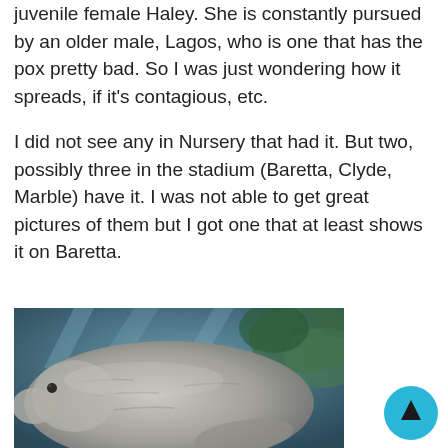juvenile female Haley. She is constantly pursued by an older male, Lagos, who is one that has the pox pretty bad. So I was just wondering how it spreads, if it's contagious, etc.
I did not see any in Nursery that had it. But two, possibly three in the stadium (Baretta, Clyde, Marble) have it. I was not able to get great pictures of them but I got one that at least shows it on Baretta.
[Figure (photo): Underwater photograph of a manatee, showing its rounded gray body from a close-up angle with a greenish aquatic background.]